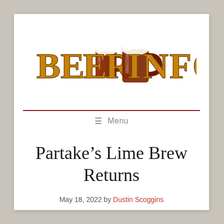[Figure (logo): Beer Info website logo with decorative gold lettering reading 'Beer Info' and two beer mug illustrations]
≡ Menu
Partake's Lime Brew Returns
May 18, 2022 by Dustin Scoggins